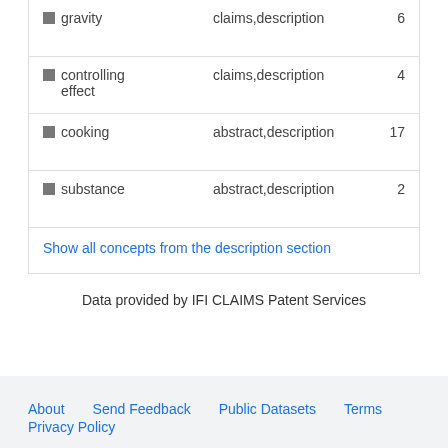| Term | Source | Count |
| --- | --- | --- |
| gravity | claims,description | 6 |
| controlling effect | claims,description | 4 |
| cooking | abstract,description | 17 |
| substance | abstract,description | 2 |
Show all concepts from the description section
Data provided by IFI CLAIMS Patent Services
About   Send Feedback   Public Datasets   Terms   Privacy Policy